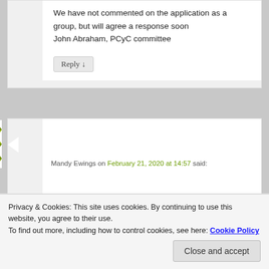We have not commented on the application as a group, but will agree a response soon
John Abraham, PCyC committee
Reply ↓
[Figure (illustration): Green geometric avatar with triangular pattern]
Mandy Ewings on February 21, 2020 at 14:57 said:
Privacy & Cookies: This site uses cookies. By continuing to use this website, you agree to their use.
To find out more, including how to control cookies, see here: Cookie Policy
Close and accept